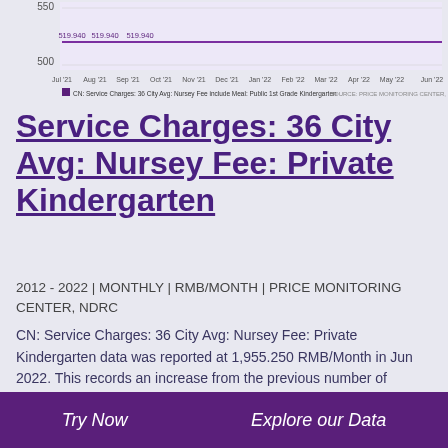[Figure (line-chart): CN: Service Charges: 36 City Avg: Nursey Fee include Meal: Public 1st Grade Kindergarten]
Service Charges: 36 City Avg: Nursey Fee: Private Kindergarten
2012 - 2022 | MONTHLY | RMB/MONTH | PRICE MONITORING CENTER, NDRC
CN: Service Charges: 36 City Avg: Nursey Fee: Private Kindergarten data was reported at 1,955.250 RMB/Month in Jun 2022. This records an increase from the previous number of 1,934.690 RMB/Month for May 2022. CN: Service Charges: 36 City Avg: Nursey Fee: Private Kindergarten data is updated monthly, averaging 805.000 RMB/Month from Jan 2012 to Jun 2022, with 126 observations. The data reached an all-time high
Try Now   Explore our Data